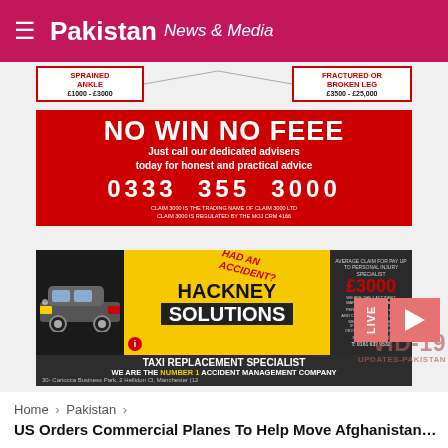Pakistan News & Media
[Figure (advertisement): No Win No Fee personal injury advertisement with Hackney Solutions taxi replacement specialist ad below, showing injury compensation amounts (Sprained Ankle £1000-£3000, Fractured or Broken Leg £3500-£25,000), phone number 0333 355 3000, and Hackney Solutions taxi replacement specialist contact info at 30- Cariocca Business Park, 2 Hellidon Cl, Manchester. Also shows COVID-19 UPDATES-PAKISTAN overlay and a LIVE play button.]
Home > Pakistan >
US Orders Commercial Planes To Help Move Afghanistan Evac